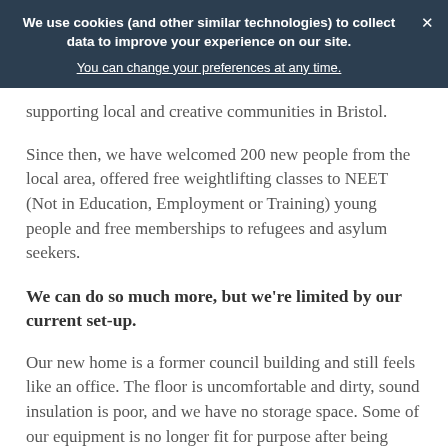We use cookies (and other similar technologies) to collect data to improve your experience on our site. You can change your preferences at any time.
supporting local and creative communities in Bristol.
Since then, we have welcomed 200 new people from the local area, offered free weightlifting classes to NEET (Not in Education, Employment or Training) young people and free memberships to refugees and asylum seekers.
We can do so much more, but we're limited by our current set-up.
Our new home is a former council building and still feels like an office. The floor is uncomfortable and dirty, sound insulation is poor, and we have no storage space. Some of our equipment is no longer fit for purpose after being stored in a damp cupboard in our previous venue over the lockdowns.
As result, we know that we are not reaching some of the